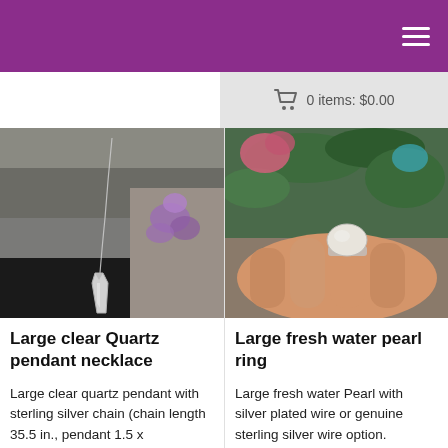Navigation header with purple background and hamburger menu
0 items: $0.00
[Figure (photo): Large clear quartz crystal pendant on a silver chain, photographed against rocky surface with purple flowers]
Large clear Quartz pendant necklace
Large clear quartz pendant with sterling silver chain (chain length 35.5 in., pendant 1.5 x
[Figure (photo): Large fresh water pearl ring on a hand with silver wire setting, photographed with flowers and greenery in background]
Large fresh water pearl ring
Large fresh water Pearl with silver plated wire or genuine sterling silver wire option. Gemstones